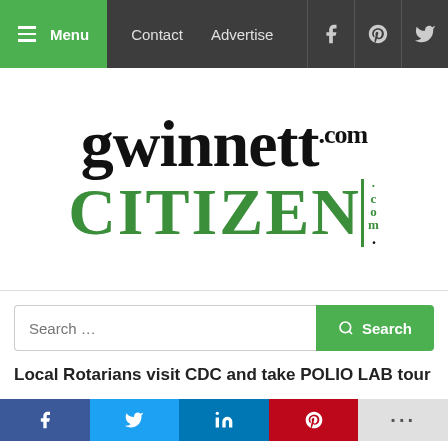Menu  Contact  Advertise
[Figure (logo): Gwinnett Citizen .com logo — 'gwinnett' in large black serif text and 'CITIZEN' in large green serif text with '.com' written vertically in green on the right]
Search ...
Local Rotarians visit CDC and take POLIO LAB tour
Social share bar: Facebook, Twitter, LinkedIn, Pinterest, More